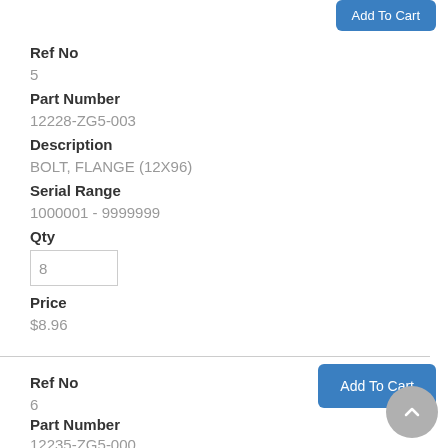[Figure (screenshot): Add To Cart button (partially visible at top)]
Ref No
5
Part Number
12228-ZG5-003
Description
BOLT, FLANGE (12X96)
Serial Range
1000001 - 9999999
Qty
8
Price
$8.96
[Figure (screenshot): Add To Cart button]
Ref No
6
Part Number
12235-ZG5-000